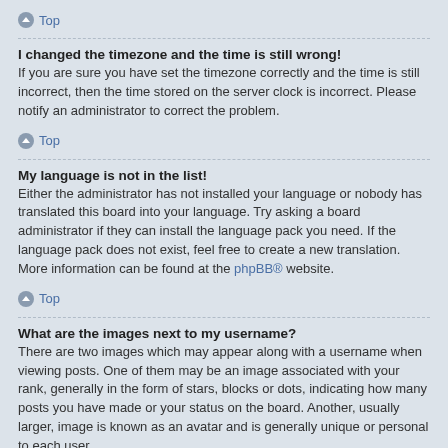Top
I changed the timezone and the time is still wrong!
If you are sure you have set the timezone correctly and the time is still incorrect, then the time stored on the server clock is incorrect. Please notify an administrator to correct the problem.
Top
My language is not in the list!
Either the administrator has not installed your language or nobody has translated this board into your language. Try asking a board administrator if they can install the language pack you need. If the language pack does not exist, feel free to create a new translation. More information can be found at the phpBB® website.
Top
What are the images next to my username?
There are two images which may appear along with a username when viewing posts. One of them may be an image associated with your rank, generally in the form of stars, blocks or dots, indicating how many posts you have made or your status on the board. Another, usually larger, image is known as an avatar and is generally unique or personal to each user.